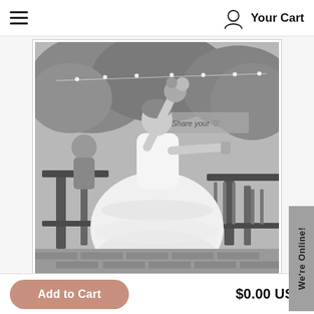Your Cart
[Figure (photo): Black and white photo of a bride in a full ball gown wedding dress, arms spread wide, one arm raised holding a bouquet, standing on a brick patio with wooden railing. String lights and trees visible in background.]
We're Online!
Add to Cart
$0.00 USD